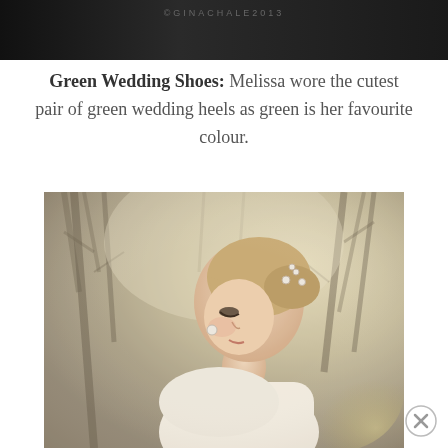[Figure (photo): Dark background photo with copyright watermark text '©GINACHALE2013' in the upper portion]
Green Wedding Shoes: Melissa wore the cutest pair of green wedding heels as green is her favourite colour.
[Figure (photo): Portrait photograph of a blonde bride with an updo hairstyle and hair accessories, looking downward, wearing a backless white dress, with bare winter trees in the background]